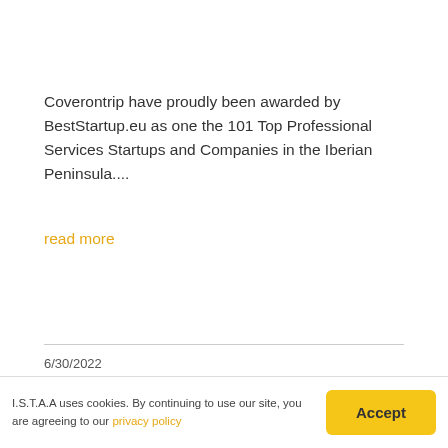Coverontrip have proudly been awarded by BestStartup.eu as one the 101 Top Professional Services Startups and Companies in the Iberian Peninsula....
read more
6/30/2022
Expat Sport launches Dubai's first 'Football
I.S.T.A.A uses cookies. By continuing to use our site, you are agreeing to our privacy policy